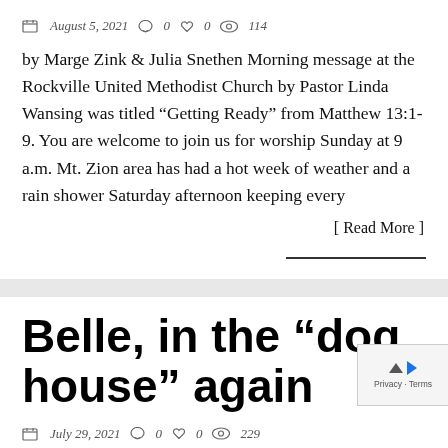August 5, 2021  0  0  114
by Marge Zink & Julia Snethen Morning message at the Rockville United Methodist Church by Pastor Linda Wansing was titled “Getting Ready” from Matthew 13:1-9. You are welcome to join us for worship Sunday at 9 a.m. Mt. Zion area has had a hot week of weather and a rain shower Saturday afternoon keeping every
[ Read More ]
Belle, in the “dog house” again
July 29, 2021  0  0  229